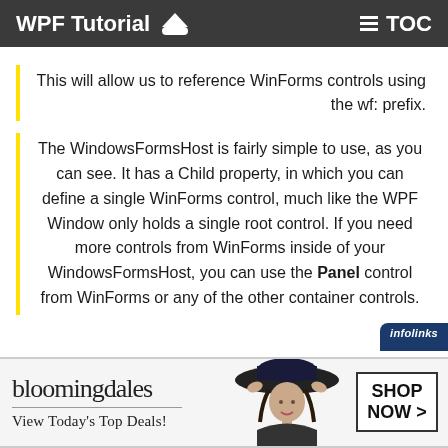WPF Tutorial 🎓  TOC
This will allow us to reference WinForms controls using the wf: prefix.
The WindowsFormsHost is fairly simple to use, as you can see. It has a Child property, in which you can define a single WinForms control, much like the WPF Window only holds a single root control. If you need more controls from WinForms inside of your WindowsFormsHost, you can use the Panel control from WinForms or any of the other container controls.
[Figure (screenshot): Bloomingdale's advertisement banner with logo, 'View Today's Top Deals!' text, woman with hat image, and 'SHOP NOW >' button]